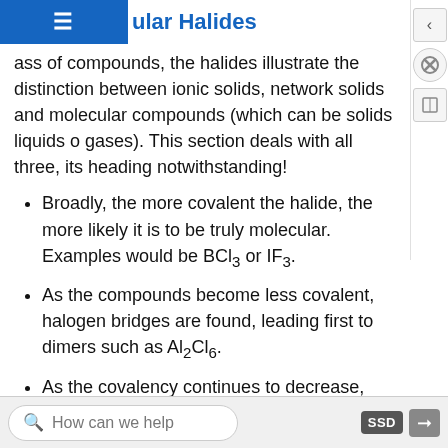ular Halides
As a class of compounds, the halides illustrate the distinction between ionic solids, network solids and molecular compounds (which can be solids liquids or gases). This section deals with all three, its heading notwithstanding!
Broadly, the more covalent the halide, the more likely it is to be truly molecular. Examples would be BCl3 or IF3.
As the compounds become less covalent, halogen bridges are found, leading first to dimers such as Al2Cl6.
As the covalency continues to decrease, the amount of bridging increases and network solids can be found. An example is (AlF3)n in which all the
How can we help